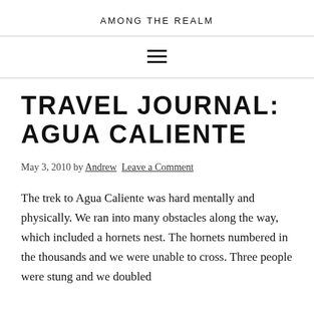AMONG THE REALM
TRAVEL JOURNAL: AGUA CALIENTE
May 3, 2010 by Andrew Leave a Comment
The trek to Agua Caliente was hard mentally and physically. We ran into many obstacles along the way, which included a hornets nest. The hornets numbered in the thousands and we were unable to cross. Three people were stung and we doubled